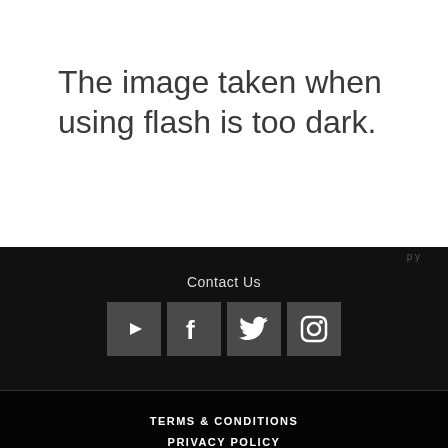The image taken when using flash is too dark.
Contact Us
[Figure (other): Row of four social media icon buttons on dark background: YouTube, Facebook, Twitter, Instagram]
TERMS & CONDITIONS
PRIVACY POLICY
COPYRIGHT © 2022 SONY INDONESIA. ALL RIGHTS RESERVED.
► Sony Group Portal Site